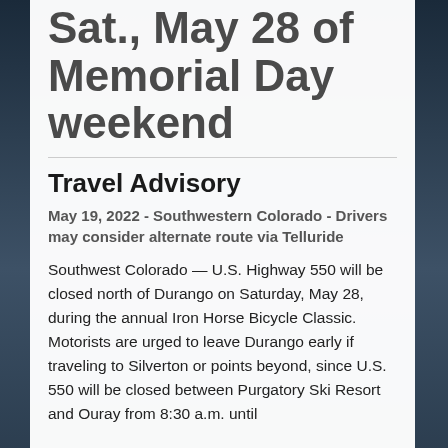Sat., May 28 of Memorial Day weekend
Travel Advisory
May 19, 2022 - Southwestern Colorado - Drivers may consider alternate route via Telluride
Southwest Colorado — U.S. Highway 550 will be closed north of Durango on Saturday, May 28, during the annual Iron Horse Bicycle Classic. Motorists are urged to leave Durango early if traveling to Silverton or points beyond, since U.S. 550 will be closed between Purgatory Ski Resort and Ouray from 8:30 a.m. until